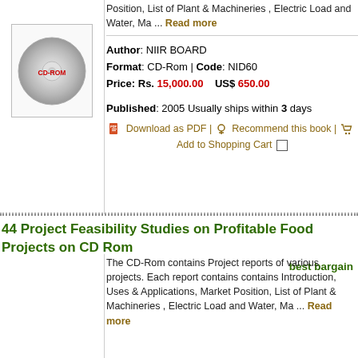Position, List of Plant & Machineries , Electric Load and Water, Ma ... Read more
Author: NIIR BOARD
Format: CD-Rom | Code: NID60
Price: Rs. 15,000.00   US$ 650.00
[Figure (photo): CD-ROM disc image]
Published: 2005 Usually ships within 3 days
Download as PDF | Recommend this book | Add to Shopping Cart
44 Project Feasibility Studies on Profitable Food Projects on CD Rom
best bargain
The CD-Rom contains Project reports of various projects. Each report contains contains Introduction, Uses & Applications, Market Position, List of Plant & Machineries , Electric Load and Water, Ma ... Read more